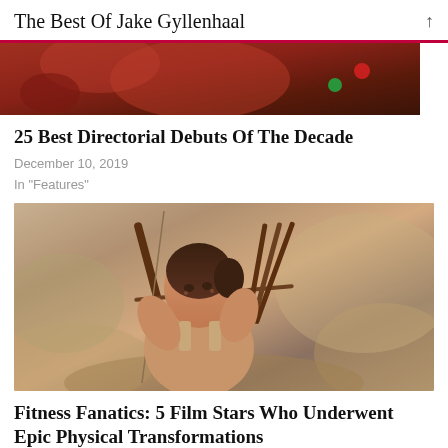The Best Of Jake Gyllenhaal
[Figure (photo): Partial image of a scene with red-toned background, green and red bokeh lights visible]
25 Best Directorial Debuts Of The Decade
December 10, 2019
In "Features"
[Figure (photo): A woman with dark hair pulled back aiming a bow and arrow outdoors in a desert/rocky setting, wearing a tank top, with a quiver of arrows on her back. Still from movie Tomb Raider.]
Fitness Fanatics: 5 Film Stars Who Underwent Epic Physical Transformations